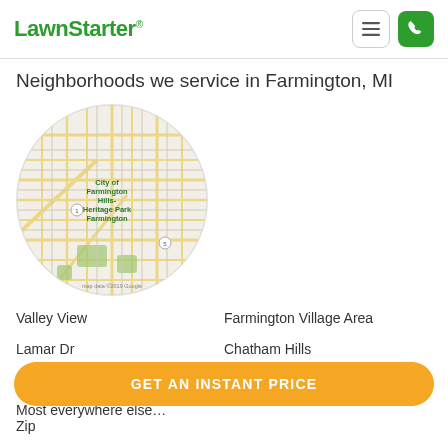LawnStarter
Neighborhoods we service in Farmington, MI
[Figure (map): Circular map showing Farmington area in Michigan with street grid, yellow roads, and label 'City of Farmington Hills- Heritage Park Farmington'. Map data ©2019 Google.]
Valley View
Farmington Village Area
Lamar Dr
Chatham Hills
Farmington Meadows/Oaks
Jamestown
Most everywhere else…
GET AN INSTANT PRICE
Zip